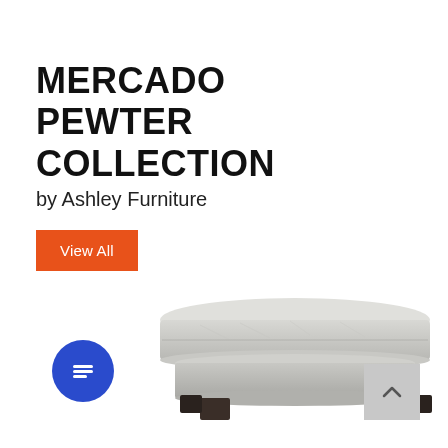MERCADO PEWTER COLLECTION
by Ashley Furniture
View All
[Figure (photo): A grey upholstered rectangular ottoman with dark wooden legs, part of the Mercado Pewter collection by Ashley Furniture. The ottoman has a cushioned top and a stepped base, shown in a product photograph against a white background.]